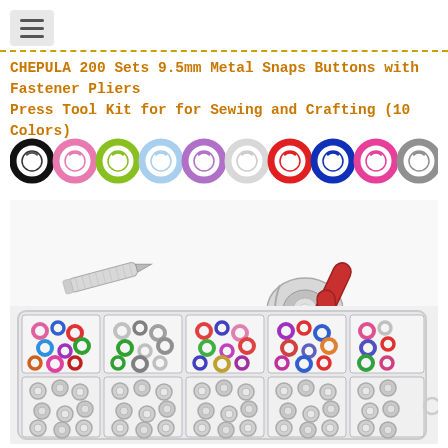CHEPULA 200 Sets 9.5mm Metal Snaps Buttons with Fastener Pliers Press Tool Kit for for Sewing and Crafting (10 Colors)
[Figure (photo): Row of 10 colorful snap button rings in black, pink, green, light blue, purple, white, red, dark blue, hot pink, and silver/gray colors shown as circular rings from top view]
[Figure (photo): Product photo showing a metal awl/punch tool on the left, two white snap button pieces in center, and red-handled fastener pliers on the right, all on white background]
[Figure (photo): Plastic organizer box containing 200 sets of colored metal snap buttons arranged in compartments - top row shows colorful mixed snaps, bottom row shows silver/metallic snap components]